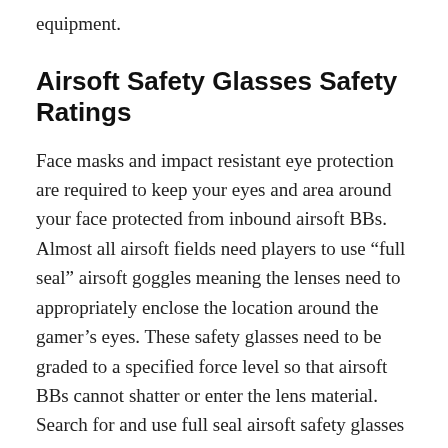equipment.
Airsoft Safety Glasses Safety Ratings
Face masks and impact resistant eye protection are required to keep your eyes and area around your face protected from inbound airsoft BBs. Almost all airsoft fields need players to use “full seal” airsoft goggles meaning the lenses need to appropriately enclose the location around the gamer’s eyes. These safety glasses need to be graded to a specified force level so that airsoft BBs cannot shatter or enter the lens material. Search for and use full seal airsoft safety glasses which are geared to at the very least ANSI Z87. 1+ or MIL-PRF-31013 impact rated. This specific ANSI rating accommodates the standards specified by the American National Standards